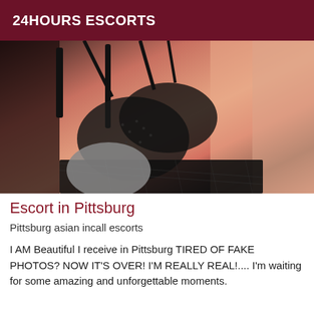24HOURS ESCORTS
[Figure (photo): Close-up photo of a person in black lingerie/lace clothing]
Escort in Pittsburg
Pittsburg asian incall escorts
I AM Beautiful I receive in Pittsburg TIRED OF FAKE PHOTOS? NOW IT'S OVER! I'M REALLY REAL!.... I'm waiting for some amazing and unforgettable moments.